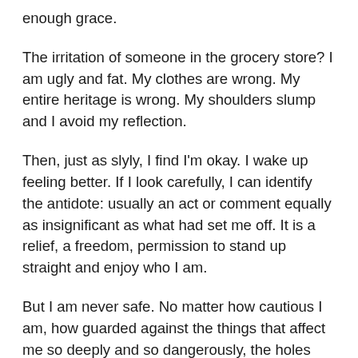enough grace.
The irritation of someone in the grocery store? I am ugly and fat. My clothes are wrong. My entire heritage is wrong. My shoulders slump and I avoid my reflection.
Then, just as slyly, I find I'm okay. I wake up feeling better. If I look carefully, I can identify the antidote: usually an act or comment equally as insignificant as what had set me off. It is a relief, a freedom, permission to stand up straight and enjoy who I am.
But I am never safe. No matter how cautious I am, how guarded against the things that affect me so deeply and so dangerously, the holes remain, their covering a membrane I have learned not to trust.